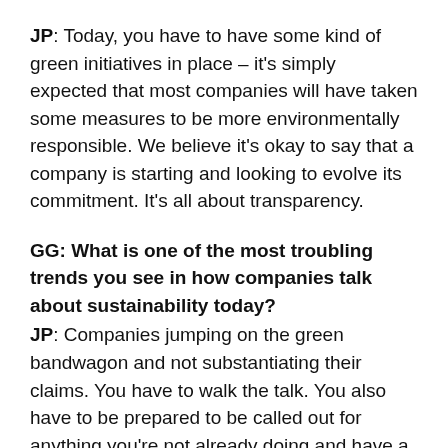JP: Today, you have to have some kind of green initiatives in place – it's simply expected that most companies will have taken some measures to be more environmentally responsible. We believe it's okay to say that a company is starting and looking to evolve its commitment. It's all about transparency.
GG: What is one of the most troubling trends you see in how companies talk about sustainability today?
JP: Companies jumping on the green bandwagon and not substantiating their claims. You have to walk the talk. You also have to be prepared to be called out for anything you're not already doing and have a response.
GG: What are some things to keep in mind—best practices—when actively talking about your business' sustainable initiatives?